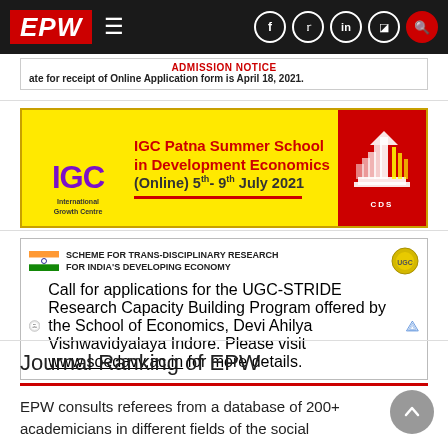EPW - Economic and Political Weekly navigation bar with hamburger menu and social icons
ADMISSION NOTICE - Last date for receipt of Online Application form is April 18, 2021.
[Figure (infographic): IGC Patna Summer School in Development Economics (Online) 5th-9th July 2021 advertisement banner with yellow background, IGC logo in purple, building graphic in red on right, and CDS logo.]
[Figure (infographic): SCHEME FOR TRANS-DISCIPLINARY RESEARCH FOR INDIA'S DEVELOPING ECONOMY - Call for applications for the UGC-STRIDE Research Capacity Building Program offered by the School of Economics, Devi Ahilya Vishwavidyalaya Indore. Please visit www.soedavv.ac.in for more details.]
Journal Ranking of EPW
EPW consults referees from a database of 200+ academicians in different fields of the social